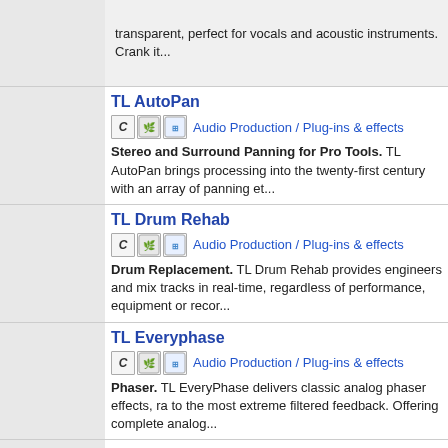transparent, perfect for vocals and acoustic instruments. Crank it...
TL AutoPan
Audio Production / Plug-ins & effects
Stereo and Surround Panning for Pro Tools. TL AutoPan brings processing into the twenty-first century with an array of panning et...
TL Drum Rehab
Audio Production / Plug-ins & effects
Drum Replacement. TL Drum Rehab provides engineers and mix tracks in real-time, regardless of performance, equipment or recor...
TL Everyphase
Audio Production / Plug-ins & effects
Phaser. TL EveryPhase delivers classic analog phaser effects, ra to the most extreme filtered feedback. Offering complete analog...
TL Intune
Audio Production / Plug-ins & effects
Professional Instrument Tuner. TL InTune is a professional tune performance of expensive rack mounted digital tuners in the conv...
TL MasterMeter
[Figure (screenshot): Product thumbnail showing TL MasterMeter green metering display]
Audio Production / Plug-ins & effects
Metering. TL MasterMeter is the first oversampling meter for Pro...